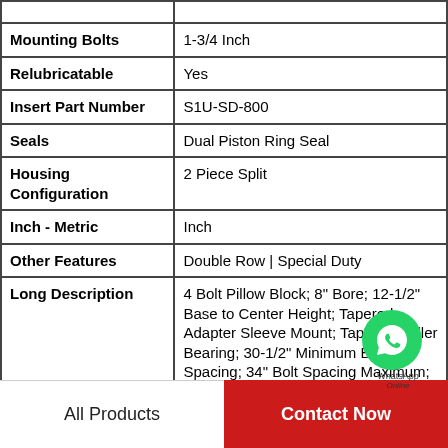| Property | Value |
| --- | --- |
| Mounting Bolts | 1-3/4 Inch |
| Relubricatable | Yes |
| Insert Part Number | S1U-SD-800 |
| Seals | Dual Piston Ring Seal |
| Housing Configuration | 2 Piece Split |
| Inch - Metric | Inch |
| Other Features | Double Row | Special Duty |
| Long Description | 4 Bolt Pillow Block; 8" Bore; 12-1/2" Base to Center Height; Tapered Adapter Sleeve Mount; Tapered Roller Bearing; 30-1/2" Minimum Bolt Spacing; 34" Bolt Spacing Maximum; Relubrica |
| Category | Pillow Block |
| UNSPSC | 31171511 |
All Products    Contact Now